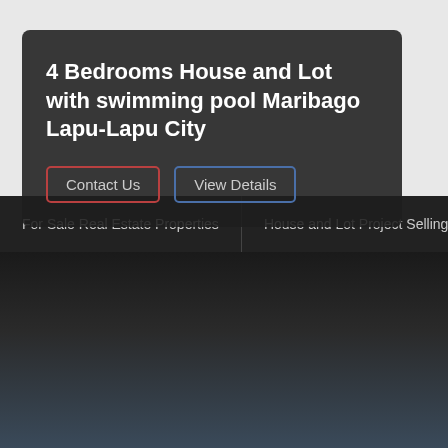About
[Figure (logo): Far East Habitat logo: dark blue triangle with house outline and letters FEH inside, text FAR EAST HABITAT below]
For Sale Real Estate Properties | House and Lot Project Selling | Condomin...
4 Bedrooms House and Lot with swimming pool Maribago Lapu-Lapu City
Contact Us   View Details